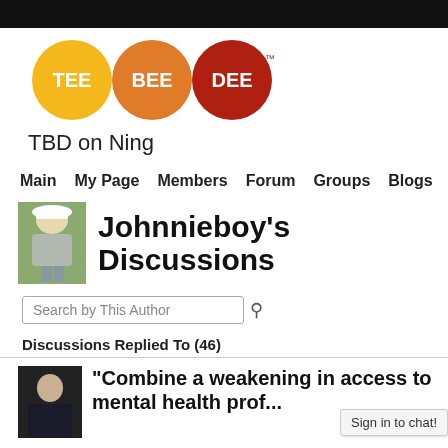[Figure (logo): TBD on Ning logo: three overlapping circles colored yellow (TEE), orange (BEE), dark red (DEE) with trademark symbol]
TBD on Ning
Main  My Page  Members  Forum  Groups  Blogs  Q & A
[Figure (photo): Profile photo of Johnnieboy, a person in a white hat on a golf course]
Johnnieboy's Discussions
Search by This Author
Discussions Replied To (46)
"Combine a weakening in access to mental health prof...
Sign in to chat!